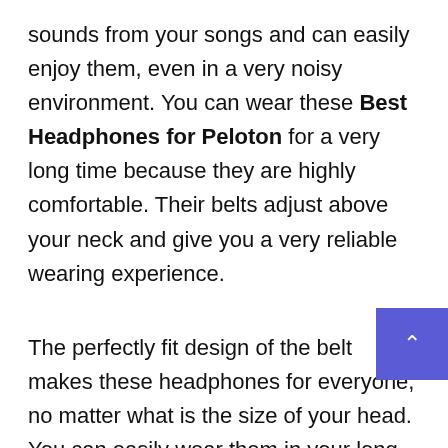sounds from your songs and can easily enjoy them, even in a very noisy environment. You can wear these Best Headphones for Peloton for a very long time because they are highly comfortable. Their belts adjust above your neck and give you a very reliable wearing experience.
The perfectly fit design of the belt makes these headphones for everyone, no matter what is the size of your head. You can easily wear them in your long peloton practices.
With the help of high- quality in- built microphone, you can easily attend calls on this